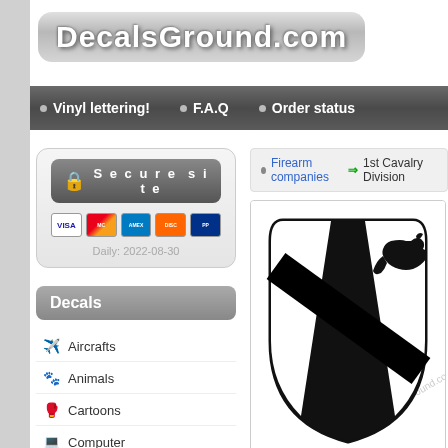[Figure (logo): DecalsGround.com logo with rounded rectangle background]
Vinyl lettering! • F.A.Q • Order status
[Figure (infographic): Secure site badge with lock icon and payment card logos: Visa, Mastercard, Amex, Discover, PayPal. Daily: 2022-08-30]
Decals
Aircrafts
Animals
Cartoons
Computer
Firearm companies
Food and Home
Funny
Firearm companies ⇒ 1st Cavalry Division
[Figure (illustration): 1st Cavalry Division decal - black shield shape with diagonal stripe and horse head silhouette, watermarked with DecalsGround.com]